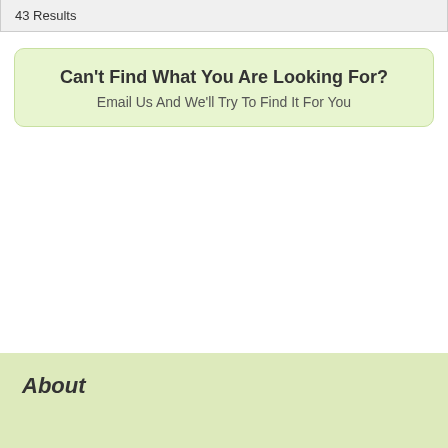43 Results
Can't Find What You Are Looking For?
Email Us And We'll Try To Find It For You
About